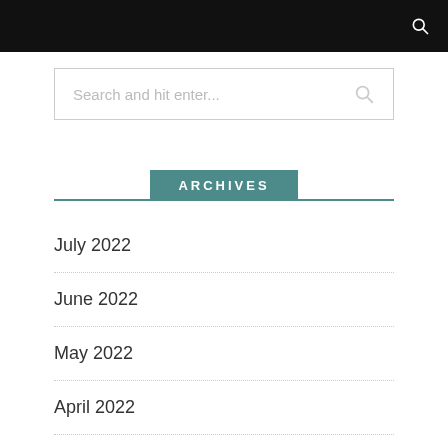Search and hit enter...
ARCHIVES
July 2022
June 2022
May 2022
April 2022
December 2021
November 2021